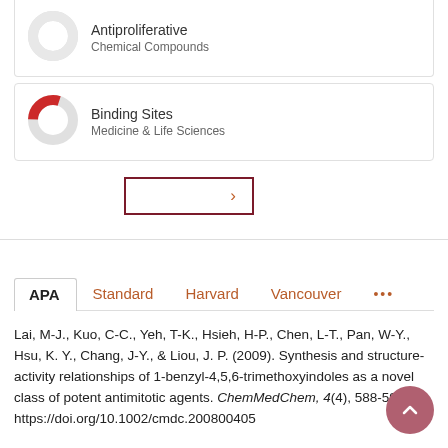[Figure (other): Donut chart card for Antiproliferative Chemical Compounds (partial, cut off at top)]
Antiproliferative
Chemical Compounds
[Figure (other): Donut chart card for Binding Sites, Medicine & Life Sciences]
Binding Sites
Medicine & Life Sciences
[Figure (other): More button with right arrow chevron, dark red border]
APA	Standard	Harvard	Vancouver	...
Lai, M-J., Kuo, C-C., Yeh, T-K., Hsieh, H-P., Chen, L-T., Pan, W-Y., Hsu, K. Y., Chang, J-Y., & Liou, J. P. (2009). Synthesis and structure-activity relationships of 1-benzyl-4,5,6-trimethoxyindoles as a novel class of potent antimitotic agents. ChemMedChem, 4(4), 588-593.
https://doi.org/10.1002/cmdc.200800405